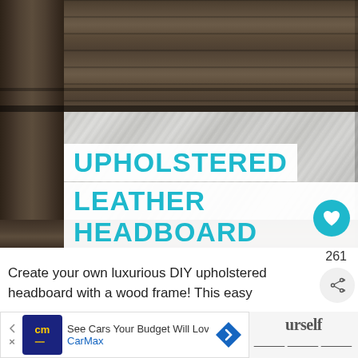[Figure (photo): DIY upholstered leather headboard with dark wood frame. Close-up photo showing gray/brown wood planks forming the frame and a white/light silver leather or fabric panel in the center/right portion.]
UPHOLSTERED LEATHER HEADBOARD
261
Create your own luxurious DIY upholstered headboard with a wood frame! This easy
See Cars Your Budget Will Love CarMax
urself